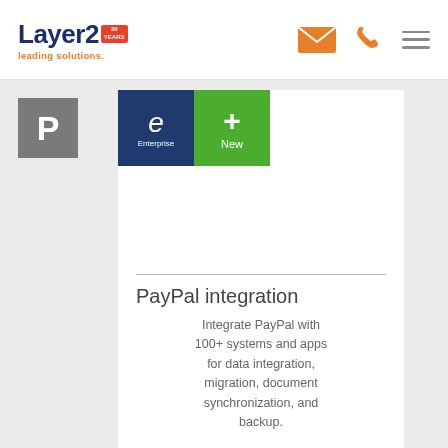Layer2 leading solutions. [30 years badge] [envelope icon] [phone icon] [menu icon]
[Figure (logo): Layer2 leading solutions logo with 30 years badge]
[Figure (infographic): Card with Enterprise and New badges, PayPal integration title and description]
PayPal integration
Integrate PayPal with 100+ systems and apps for data integration, migration, document synchronization, and backup.